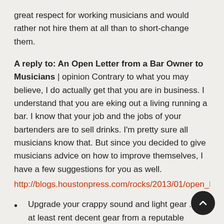great respect for working musicians and would rather not hire them at all than to short-change them.
A reply to: An Open Letter from a Bar Owner to Musicians | opinion Contrary to what you may believe, I do actually get that you are in business. I understand that you are eking out a living running a bar. I know that your job and the jobs of your bartenders are to sell drinks. I'm pretty sure all musicians know that. But since you decided to give musicians advice on how to improve themselves, I have a few suggestions for you as well.
http://blogs.houstonpress.com/rocks/2013/01/open_letter_to_t
Upgrade your crappy sound and light gear ... or at least rent decent gear from a reputable professional audio company. Better yet, hire a professional audio engineer with gear - you will get the best sound possible 100%